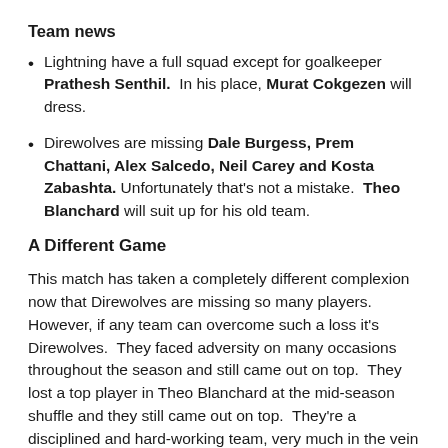Team news
Lightning have a full squad except for goalkeeper Prathesh Senthil. In his place, Murat Cokgezen will dress.
Direwolves are missing Dale Burgess, Prem Chattani, Alex Salcedo, Neil Carey and Kosta Zabashta. Unfortunately that's not a mistake. Theo Blanchard will suit up for his old team.
A Different Game
This match has taken a completely different complexion now that Direwolves are missing so many players. However, if any team can overcome such a loss it's Direwolves. They faced adversity on many occasions throughout the season and still came out on top. They lost a top player in Theo Blanchard at the mid-season shuffle and they still came out on top. They're a disciplined and hard-working team, very much in the vein of